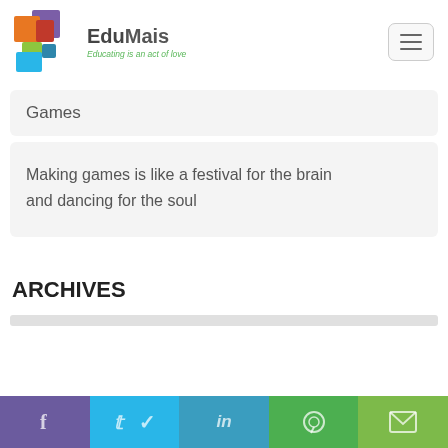[Figure (logo): EduMais logo with colorful overlapping squares and text 'EduMais - Educating is an act of love']
Games
Making games is like a festival for the brain and dancing for the soul
ARCHIVES
[Figure (infographic): Social media share buttons: Facebook, Twitter, LinkedIn, WhatsApp, Email]